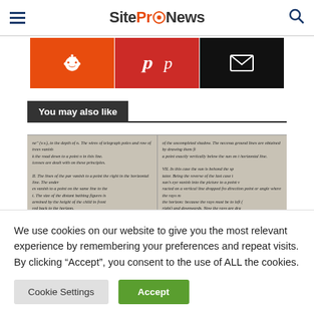SiteProNews
[Figure (screenshot): Three social share buttons: Reddit (orange), Pinterest (dark red), Email (black) with respective icons]
You may also like
[Figure (screenshot): Scanned text from an old book about perspective drawing, two-column layout with italic serif text]
We use cookies on our website to give you the most relevant experience by remembering your preferences and repeat visits. By clicking “Accept”, you consent to the use of ALL the cookies.
Cookie Settings  Accept